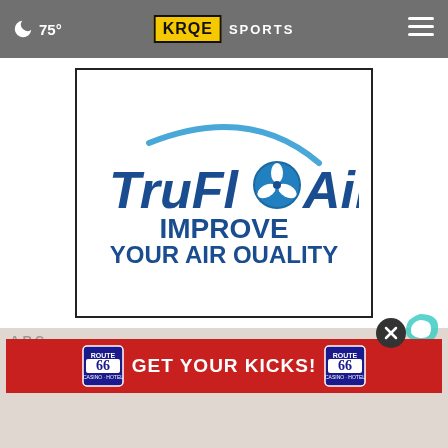🌙 75° | KRQE SPORTS
[Figure (logo): TruFlo Air advertisement logo with text: TruFlo Air - IMPROVE YOUR AIR QUALITY]
ARC...
[Figure (logo): Taboola logo (C-shaped)]
[Figure (other): Route 66 Casino Hotel banner advertisement: GET YOUR KICKS! with Route 66 Casino badges on left and right]